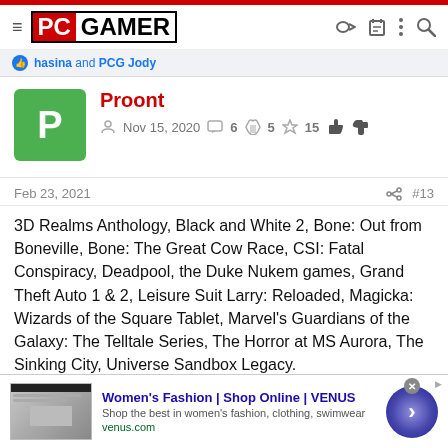PC GAMER
hasina and PCG Jody
Proont
Nov 15, 2020  6  5  15
Feb 23, 2021  #13
3D Realms Anthology, Black and White 2, Bone: Out from Boneville, Bone: The Great Cow Race, CSI: Fatal Conspiracy, Deadpool, the Duke Nukem games, Grand Theft Auto 1 & 2, Leisure Suit Larry: Reloaded, Magicka: Wizards of the Square Tablet, Marvel's Guardians of the Galaxy: The Telltale Series, The Horror at MS Aurora, The Sinking City, Universe Sandbox Legacy.
[Figure (screenshot): Advertisement banner for VENUS women's fashion with logo image, title 'Women's Fashion | Shop Online | VENUS', description text, venus.com URL, and a blue navigation arrow button]